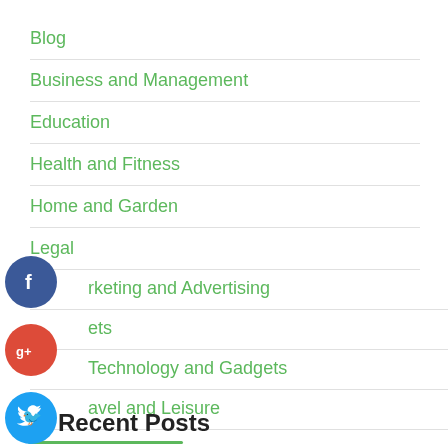Blog
Business and Management
Education
Health and Fitness
Home and Garden
Legal
Marketing and Advertising
Pets
Technology and Gadgets
Travel and Leisure
[Figure (infographic): Row of social media share buttons: Facebook (blue), Google+ (red), Twitter (blue), and a dark plus/more button]
Recent Posts